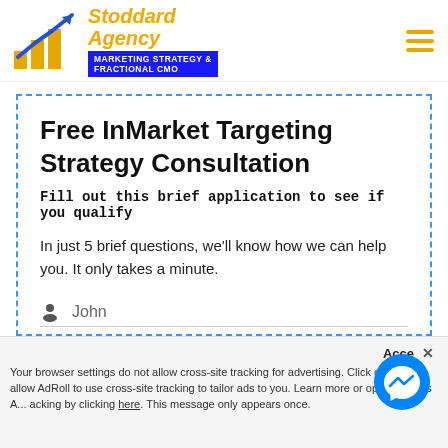[Figure (logo): Stoddard Agency logo with blue arrow/bar chart icon, orange text 'Stoddard Agency' and blue bar 'MARKETING STRATEGY & FRACTIONAL CMO']
Free InMarket Targeting Strategy Consultation
Fill out this brief application to see if you qualify
In just 5 brief questions, we'll know how we can help you. It only takes a minute.
John
Smith
Acce × Your browser settings do not allow cross-site tracking for advertising. Click on th... allow AdRoll to use cross-site tracking to tailor ads to you. Learn more or opt out of this A... acking by clicking here. This message only appears once.